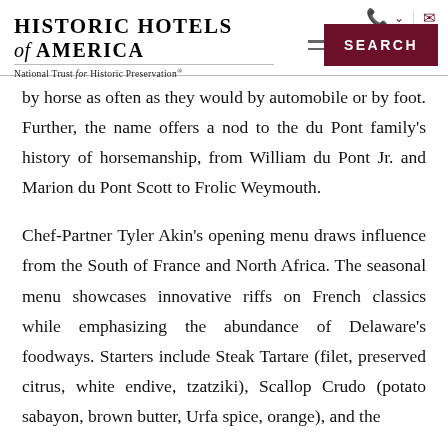Historic Hotels of America — National Trust for Historic Preservation
by horse as often as they would by automobile or by foot. Further, the name offers a nod to the du Pont family's history of horsemanship, from William du Pont Jr. and Marion du Pont Scott to Frolic Weymouth.
Chef-Partner Tyler Akin's opening menu draws influence from the South of France and North Africa. The seasonal menu showcases innovative riffs on French classics while emphasizing the abundance of Delaware's foodways. Starters include Steak Tartare (filet, preserved citrus, white endive, tzatziki), Scallop Crudo (potato sabayon, brown butter, Urfa spice, orange), and the